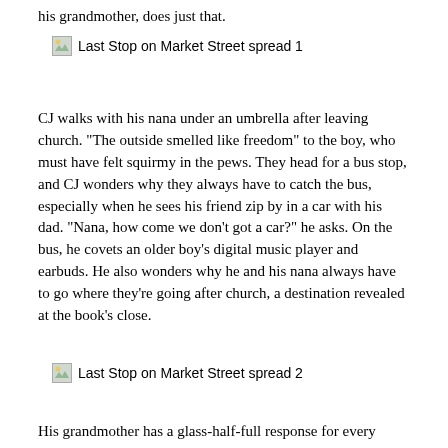his grandmother, does just that.
[Figure (illustration): Broken image placeholder labeled 'Last Stop on Market Street spread 1']
CJ walks with his nana under an umbrella after leaving church. “The outside smelled like freedom” to the boy, who must have felt squirmy in the pews. They head for a bus stop, and CJ wonders why they always have to catch the bus, especially when he sees his friend zip by in a car with his dad. “Nana, how come we don’t got a car?” he asks. On the bus, he covets an older boy’s digital music player and earbuds. He also wonders why he and his nana always have to go where they’re going after church, a destination revealed at the book’s close.
[Figure (illustration): Broken image placeholder labeled 'Last Stop on Market Street spread 2']
His grandmother has a glass-half-full response for every